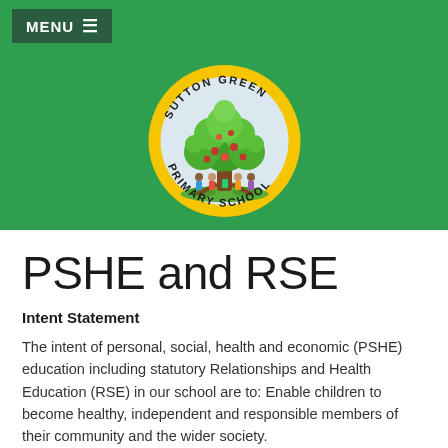MENU
[Figure (logo): Sutton Green Primary School circular logo with a tree illustration, yellow and green colors, brown trunk with green leaves and fruit]
PSHE and RSE
Intent Statement
The intent of personal, social, health and economic (PSHE) education including statutory Relationships and Health Education (RSE) in our school are to: Enable children to become healthy, independent and responsible members of their community and the wider society.
To link to our values and ethos: